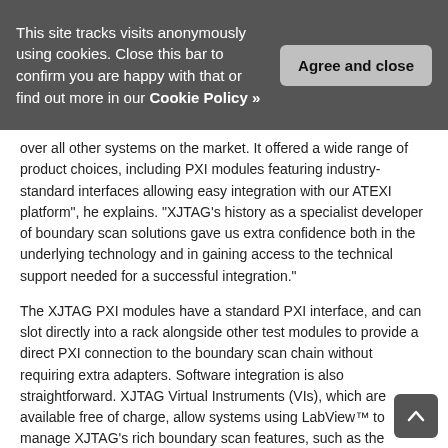This site tracks visits anonymously using cookies. Close this bar to confirm you are happy with that or find out more in our Cookie Policy »
over all other systems on the market. It offered a wide range of product choices, including PXI modules featuring industry-standard interfaces allowing easy integration with our ATEXI platform", he explains. "XJTAG's history as a specialist developer of boundary scan solutions gave us extra confidence both in the underlying technology and in gaining access to the technical support needed for a successful integration."
The XJTAG PXI modules have a standard PXI interface, and can slot directly into a rack alongside other test modules to provide a direct PXI connection to the boundary scan chain without requiring extra adapters. Software integration is also straightforward. XJTAG Virtual Instruments (VIs), which are available free of charge, allow systems using LabView™ to manage XJTAG's rich boundary scan features, such as the Advanced Connection Test and tests for non-JTAG components. Other industry-standard interfaces are provided, such as the COM and .NET interfaces, allowing XJTAG to be integrated with a variety of third-party test and measurement software.